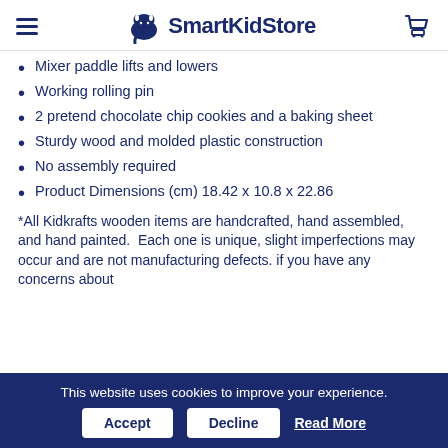SmartKidStore
Mixer paddle lifts and lowers
Working rolling pin
2 pretend chocolate chip cookies and a baking sheet
Sturdy wood and molded plastic construction
No assembly required
Product Dimensions (cm) 18.42 x 10.8 x 22.86
*All Kidkrafts wooden items are handcrafted, hand assembled, and hand painted.  Each one is unique, slight imperfections may occur and are not manufacturing defects. if you have any concerns about
This website uses cookies to improve your experience. Accept Decline Read More